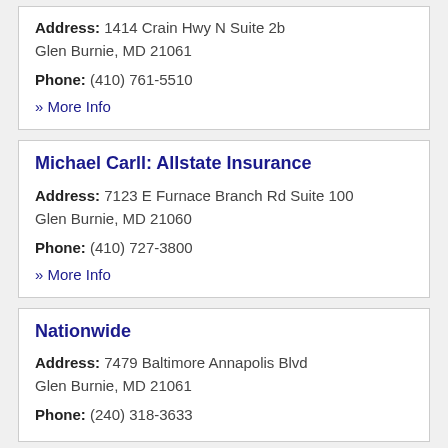Address: 1414 Crain Hwy N Suite 2b
Glen Burnie, MD 21061
Phone: (410) 761-5510
» More Info
Michael Carll: Allstate Insurance
Address: 7123 E Furnace Branch Rd Suite 100
Glen Burnie, MD 21060
Phone: (410) 727-3800
» More Info
Nationwide
Address: 7479 Baltimore Annapolis Blvd
Glen Burnie, MD 21061
Phone: (240) 318-3633